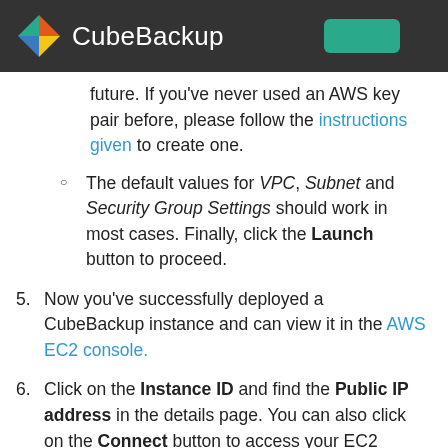CubeBackup
future. If you've never used an AWS key pair before, please follow the instructions given to create one.
The default values for VPC, Subnet and Security Group Settings should work in most cases. Finally, click the Launch button to proceed.
5. Now you've successfully deployed a CubeBackup instance and can view it in the AWS EC2 console.
6. Click on the Instance ID and find the Public IP address in the details page. You can also click on the Connect button to access your EC2